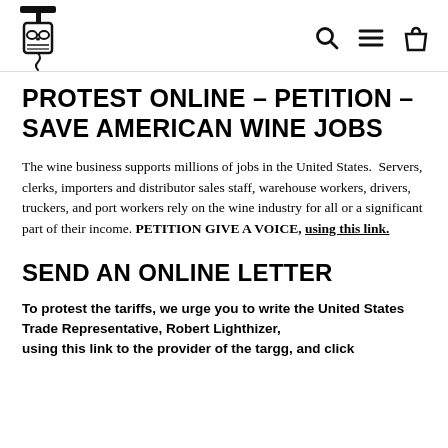[Logo: wine bottle opener illustration] [search icon] [menu icon] [bag icon]
PROTEST ONLINE - PETITION - SAVE AMERICAN WINE JOBS
The wine business supports millions of jobs in the United States.  Servers, clerks, importers and distributor sales staff, warehouse workers, drivers, truckers, and port workers rely on the wine industry for all or a significant part of their income. PETITION GIVE A VOICE, using this link.
SEND AN ONLINE LETTER
To protest the tariffs, we urge you to write the United States Trade Representative, Robert Lighthizer, using this link to the provider of the targg, and click...